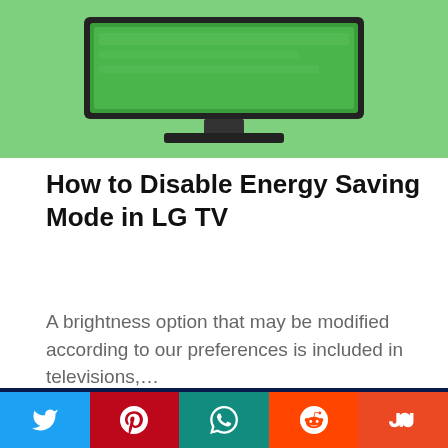[Figure (illustration): LG TV illustration on green background showing a flat screen television]
How to Disable Energy Saving Mode in LG TV
A brightness option that may be modified according to our preferences is included in televisions,...
[Figure (photo): LG TV displaying LG logo (red circle with LG lettering) on dark screen with blue background lighting]
Social sharing bar with Twitter, Pinterest, WhatsApp, Reddit, StumbleUpon buttons